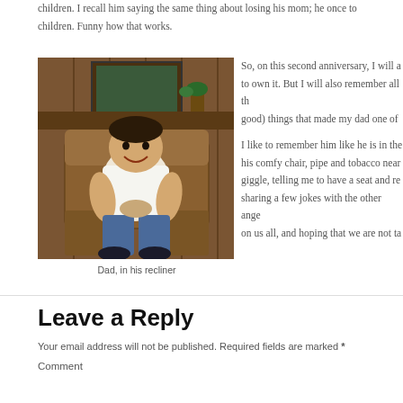children. I recall him saying the same thing about losing his mom; he once told children. Funny how that works.
[Figure (photo): A man sitting and relaxing in a recliner chair, wearing a white t-shirt and jeans with dark shoes, smiling, with a wood-paneled room in the background.]
Dad, in his recliner
So, on this second anniversary, I will a to own it. But I will also remember all th good) things that made my dad one of
I like to remember him like he is in the his comfy chair, pipe and tobacco near giggle, telling me to have a seat and re sharing a few jokes with the other ange on us all, and hoping that we are not ta
Leave a Reply
Your email address will not be published. Required fields are marked *
Comment